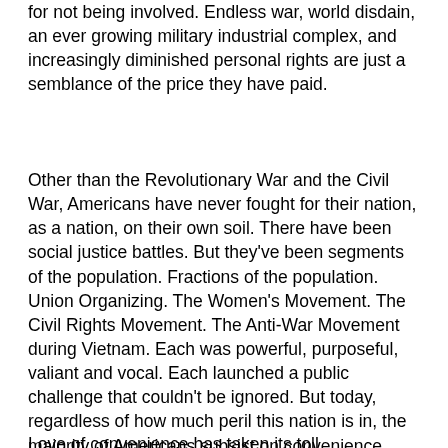for not being involved. Endless war, world disdain, an ever growing military industrial complex, and increasingly diminished personal rights are just a semblance of the price they have paid.
Other than the Revolutionary War and the Civil War, Americans have never fought for their nation, as a nation, on their own soil. There have been social justice battles. But they've been segments of the population. Fractions of the population. Union Organizing. The Women's Movement. The Civil Rights Movement. The Anti-War Movement during Vietnam. Each was powerful, purposeful, valiant and vocal. Each launched a public challenge that couldn't be ignored. But today, regardless of how much peril this nation is in, the majority of Americans subsist on convenience, passivity and complacency. They may be angry. But not angry enough to take back their nation. Not angry enough to take to the streets.
Love of convenience has taken its toll.